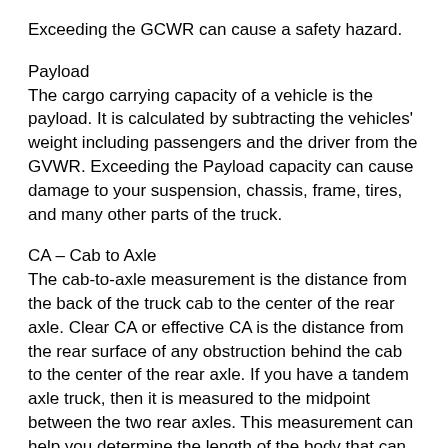Exceeding the GCWR can cause a safety hazard.
Payload
The cargo carrying capacity of a vehicle is the payload. It is calculated by subtracting the vehicles' weight including passengers and the driver from the GVWR. Exceeding the Payload capacity can cause damage to your suspension, chassis, frame, tires, and many other parts of the truck.
CA – Cab to Axle
The cab-to-axle measurement is the distance from the back of the truck cab to the center of the rear axle. Clear CA or effective CA is the distance from the rear surface of any obstruction behind the cab to the center of the rear axle. If you have a tandem axle truck, then it is measured to the midpoint between the two rear axles. This measurement can help you determine the length of the body that can be mounted on the chassis.
Wheelbase
The wheelbase is the distance between the centers of the front and rear axles. When the truck has more than two